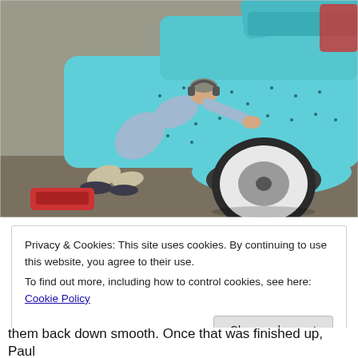[Figure (photo): A person bending over and working on the side panel of a classic turquoise/light blue car in a garage. The car has a white wall tire visible. The person is wearing a light blue shirt, grey shorts, and dark sneakers, and has headphones around their neck.]
Privacy & Cookies: This site uses cookies. By continuing to use this website, you agree to their use.
To find out more, including how to control cookies, see here: Cookie Policy
them back down smooth. Once that was finished up, Paul